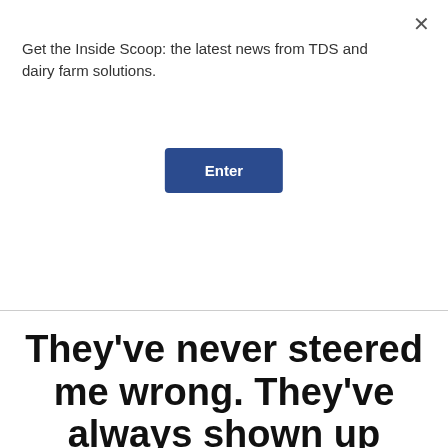Get the Inside Scoop: the latest news from TDS and dairy farm solutions.
They’ve never steered me wrong. They’ve always shown up when they’re supposed to, and it’s something I don’t have to micromanage. I can let it be and trust that it’s gonna get done. They’re here around the same...